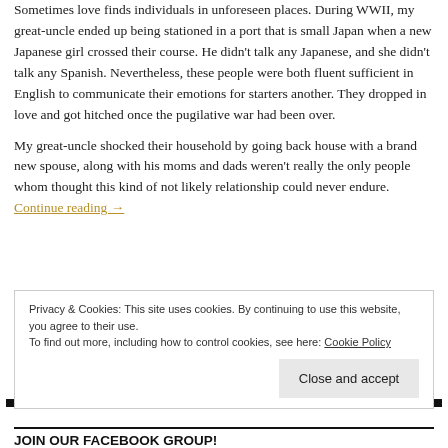Sometimes love finds individuals in unforeseen places. During WWII, my great-uncle ended up being stationed in a port that is small Japan when a new Japanese girl crossed their course. He didn't talk any Japanese, and she didn't talk any Spanish. Nevertheless, these people were both fluent sufficient in English to communicate their emotions for starters another. They dropped in love and got hitched once the pugilative war had been over.

My great-uncle shocked their household by going back house with a brand new spouse, along with his moms and dads weren't really the only people whom thought this kind of not likely relationship could never endure. Continue reading →
Privacy & Cookies: This site uses cookies. By continuing to use this website, you agree to their use.
To find out more, including how to control cookies, see here: Cookie Policy
Close and accept
JOIN OUR FACEBOOK GROUP!